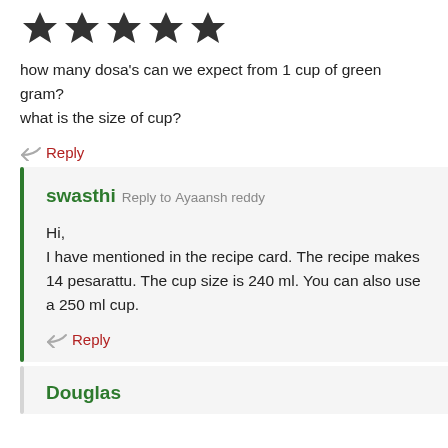[Figure (other): Five dark star rating icons]
how many dosa's can we expect from 1 cup of green gram?
what is the size of cup?
Reply
swasthi Reply to Ayaansh reddy
Hi,
I have mentioned in the recipe card. The recipe makes 14 pesarattu. The cup size is 240 ml. You can also use a 250 ml cup.
Reply
Douglas